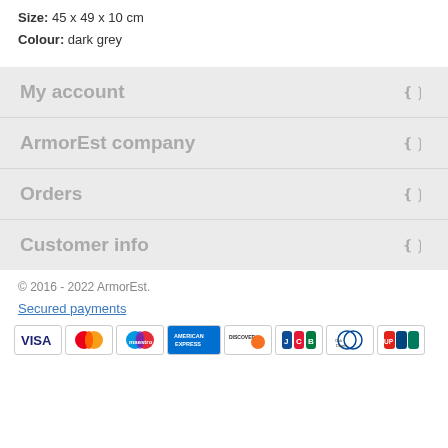Size: 45 x 49 x 10 cm
Colour: dark grey
My account
ArmorEst company
Orders
Customer info
© 2016 - 2022 ArmorEst.
Secured payments
[Figure (other): Payment method icons: VISA, Mastercard, Maestro, American Express, Discover, JCB, Diners Club, UnionPay]